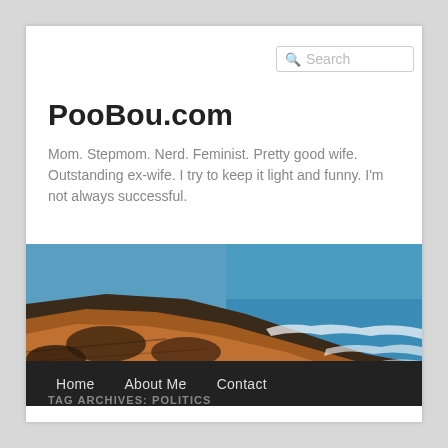Search
PooBou.com
Mom. Stepmom. Nerd. Feminist. Pretty good wife. Outstanding ex-wife. I try to keep it light and funny. I'm not always successful.
[Figure (photo): Coastal rocky shoreline with ocean waves and turquoise water]
Home   About Me   Contact
TAG ARCHIVES: POLITICS